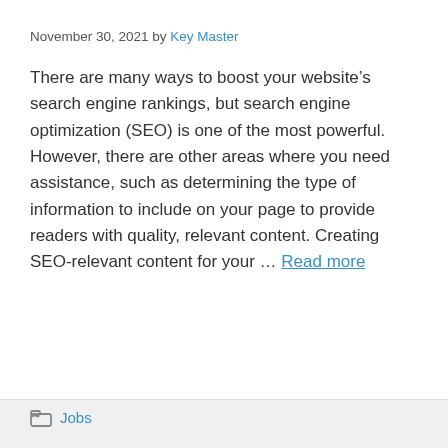November 30, 2021 by Key Master
There are many ways to boost your website’s search engine rankings, but search engine optimization (SEO) is one of the most powerful. However, there are other areas where you need assistance, such as determining the type of information to include on your page to provide readers with quality, relevant content. Creating SEO-relevant content for your … Read more
Categories: Jobs